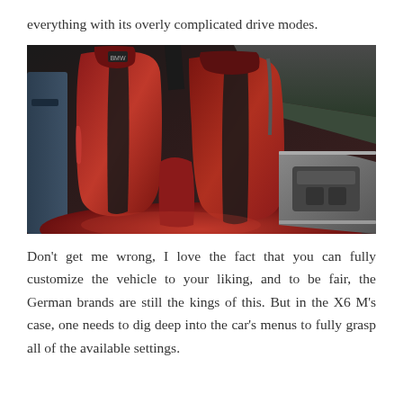everything with its overly complicated drive modes.
[Figure (photo): Interior of a BMW X6 M showing two red and black sport bucket seats with carbon fiber accents, center console with gear selector and controls visible on the right, photographed from driver's side door opening.]
Don't get me wrong, I love the fact that you can fully customize the vehicle to your liking, and to be fair, the German brands are still the kings of this. But in the X6 M's case, one needs to dig deep into the car's menus to fully grasp all of the available settings.